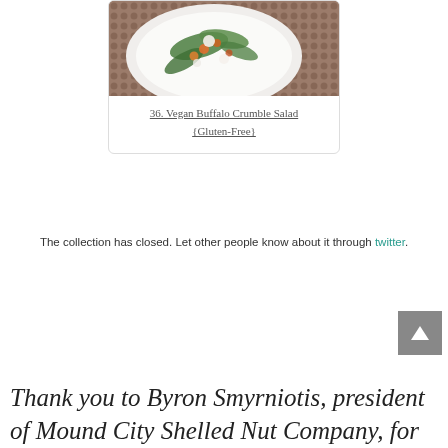[Figure (photo): Photo of a salad on a plate with greens and vegetables on a textured brown background]
36. Vegan Buffalo Crumble Salad {Gluten-Free}
The collection has closed. Let other people know about it through twitter.
Thank you to  Byron Smyrniotis, president of Mound City Shelled Nut Company, for